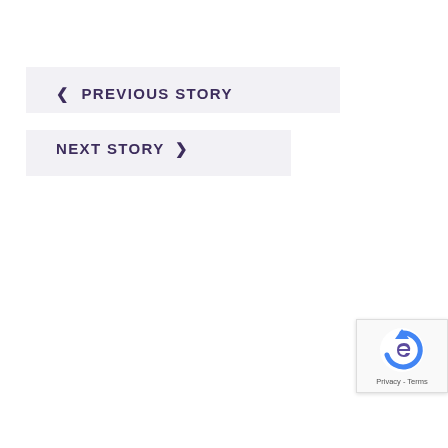< PREVIOUS STORY
NEXT STORY >
[Figure (logo): Google reCAPTCHA badge with recycling-style arrow logo and 'Privacy - Terms' text]